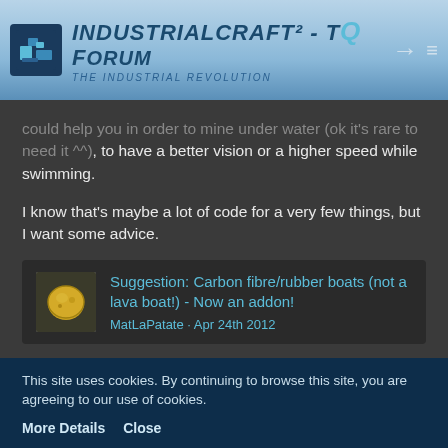IndustrialCraft² - The Forum · The Industrial Revolution
could help you in order to mine under water (ok it's rare to need it ^^), to have a better vision or a higher speed while swimming.
I know that's maybe a lot of code for a very few things, but I want some advice.
[Figure (screenshot): Linked forum post card: thumbnail image of a golden potato item, title 'Suggestion: Carbon fibre/rubber boats (not a lava boat!) - Now an addon!', author 'MatLaPatate', date 'Apr 24th 2012']
+1, but maybe the removing of the collision bug is a lot of code ?
This site uses cookies. By continuing to browse this site, you are agreeing to our use of cookies. More Details  Close